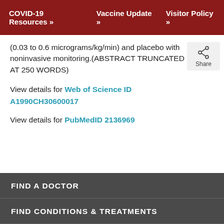COVID-19 Resources »   Vaccine Update »   Visitor Policy »
(0.03 to 0.6 micrograms/kg/min) and placebo with noninvasive monitoring.(ABSTRACT TRUNCATED AT 250 WORDS)
View details for Web of Science ID A1990CH30600017
View details for PubMedID 2136969
FIND A DOCTOR
FIND CONDITIONS & TREATMENTS